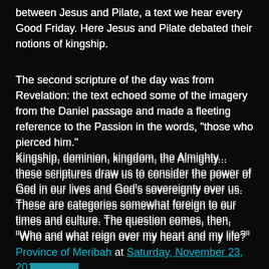between Jesus and Pilate, a text we hear every Good Friday. Here Jesus and Pilate debated their notions of kingship.
The second scripture of the day was from Revelation: the text echoed some of the imagery from the Daniel passage and made a fleeting reference to the Passion in the words, "those who pierced him."
Kingship, dominion, kingdom, the Almighty... these scriptures draw us to consider the power of God in our lives and God's sovereignty over us. These are categories somewhat foreign to our times and culture. The question comes, then, "Who and what reign over my heart and my life?"
Province of Meribah at Saturday, November 23, 2019
Share
Friday, November 22, 2019
Meet God in the Poor